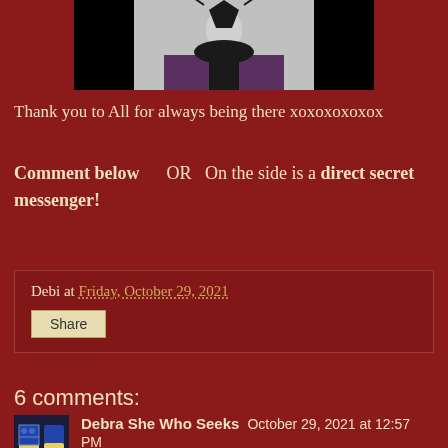[Figure (photo): A Halloween/witch themed photo showing a dark costumed figure against a light background]
Thank you to All for always being there xoxoxoxoxox
Comment below       OR   On the side is a direct secret messenger!
Debi at Friday, October 29, 2021
Share
6 comments:
Debra She Who Seeks  October 29, 2021 at 12:57 PM
Love your inspired dancing and the "Drink Up Witches" sign! Have a wonderful Samhain/Halloween. Blessed Be to